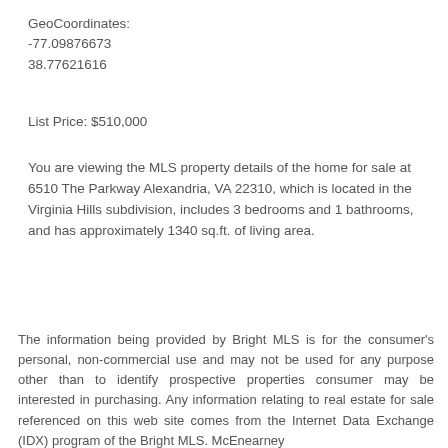GeoCoordinates:
-77.09876673
38.77621616
List Price: $510,000
You are viewing the MLS property details of the home for sale at 6510 The Parkway Alexandria, VA 22310, which is located in the Virginia Hills subdivision, includes 3 bedrooms and 1 bathrooms, and has approximately 1340 sq.ft. of living area.
The information being provided by Bright MLS is for the consumer's personal, non-commercial use and may not be used for any purpose other than to identify prospective properties consumer may be interested in purchasing. Any information relating to real estate for sale referenced on this web site comes from the Internet Data Exchange (IDX) program of the Bright MLS. McEnearney